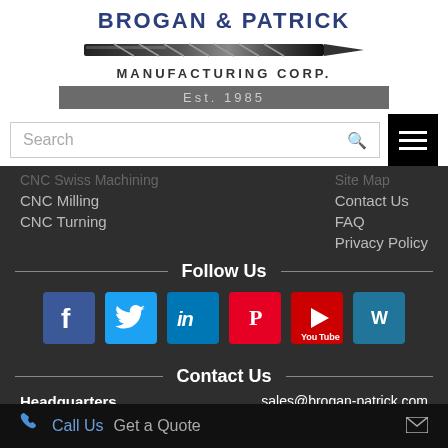[Figure (logo): Brogan & Patrick Manufacturing Corp logo with drill bit graphic and Est. 1985 banner]
Search
CNC Milling
CNC Turning
Contact Us
FAQ
Privacy Policy
Follow Us
[Figure (infographic): Social media icons: Facebook, Twitter, LinkedIn, Pinterest, YouTube, WordPress]
Contact Us
Headquarters
sales@brogan-patrick.com
515 E. Centralia St.
Call Us  Get a Quote